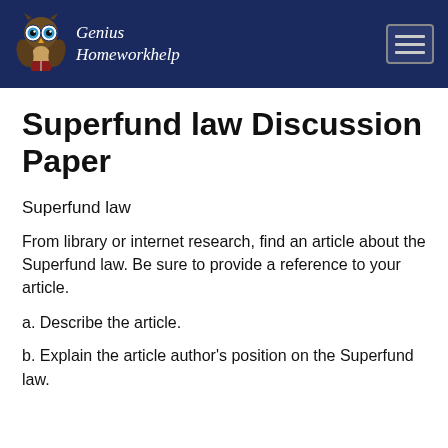Genius Homeworkhelp
Superfund law Discussion Paper
Superfund law
From library or internet research, find an article about the Superfund law. Be sure to provide a reference to your article.
a. Describe the article.
b. Explain the article author's position on the Superfund law.